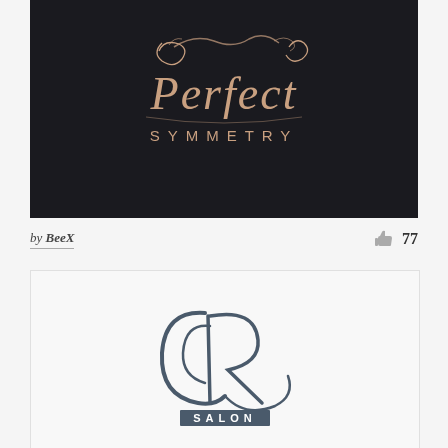[Figure (logo): Perfect Symmetry logo with decorative script lettering on dark background. Rose gold/copper colored ornate text reading 'Perfect' in cursive with decorative flourishes, and 'SYMMETRY' in spaced sans-serif capitals below.]
by BeeX
77
[Figure (logo): CR Salon logo. Stylized cursive 'CR' monogram in dark slate/teal color, with 'SALON' in spaced sans-serif capitals inside a dark rectangular bar below.]